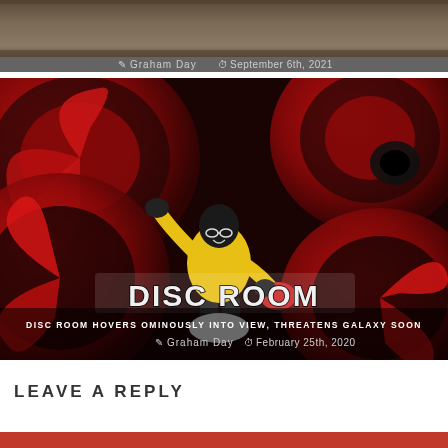[Figure (screenshot): Top card with dark brownish image and author/date metadata overlay: Graham Day, September 6th, 2021]
Graham Day  September 6th, 2021
[Figure (illustration): Disc Room game art: character in yellow jumpsuit surrounded by spinning red saw blades, DISC ROOM logo overlaid, with title text and author/date metadata]
DISC ROOM HOVERS OMINOUSLY INTO VIEW, THREATENS GALAXY SOON
Graham Day  February 25th, 2020
LEAVE A REPLY